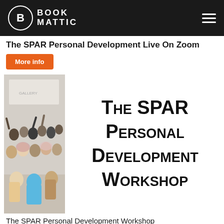BOOK MATTIC
The SPAR Personal Development Live On Zoom
More info
[Figure (photo): Group photo of workshop attendees, many young people posing together, some with hands raised]
The SPAR Personal Development Workshop
The SPAR Personal Development Workshop